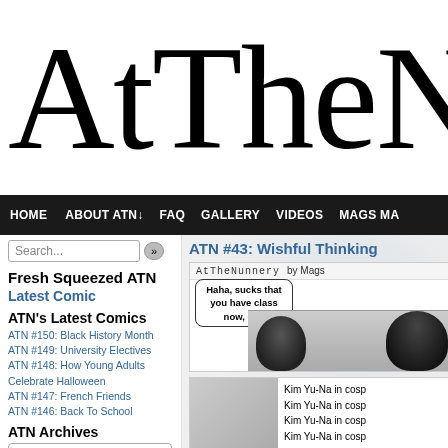AtTheN
HOME  ABOUT ATN↓  FAQ  GALLERY  VIDEOS  MAGS MA
Search...
Fresh Squeezed ATN
Latest Comic
ATN's Latest Comics
ATN #150: Black History Month
ATN #149: University Electives
ATN #148: How Young Adults Celebrate Halloween
ATN #147: French Friends
ATN #146: Back To School
ATN Archives
Select Month
ATN: Surprise Me!
? Random Comic
ATN #43: Wishful Thinking
[Figure (illustration): Comic strip panel titled 'AtTheNunnery by Mags' showing characters with speech bubbles: 'Haha, sucks that you have class now, eh?' and 'Shut up Jordan! I really wish I didn't... oh, text from Jamie...']
[Figure (illustration): Second comic panel showing a sketch scene with text 'Kim Yu-Na in cosp' repeated four times on the right side]